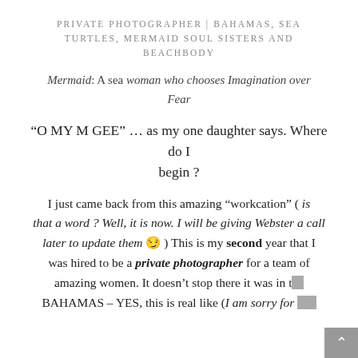PRIVATE PHOTOGRAPHER | BAHAMAS, SEA TURTLES, MERMAID SOUL SISTERS AND BEACHBODY
Mermaid: A sea woman who chooses Imagination over Fear
“O MY M GEE” … as my one daughter says. Where do I begin ?
I just came back from this amazing “workcation” ( is that a word ? Well, it is now. I will be giving Webster a call later to update them 😏 ) This is my second year that I was hired to be a private photographer for a team of amazing women. It doesn’t stop there it was in the BAHAMAS – YES, this is real like (I am sorry for text